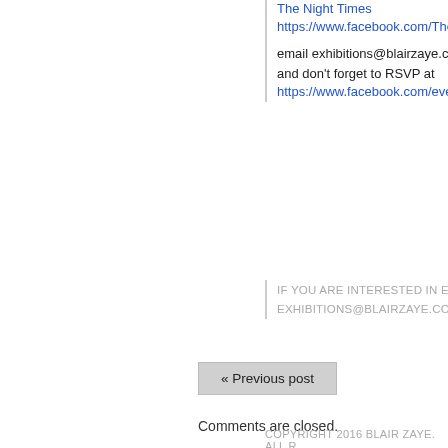The Night Times
https://www.facebook.com/TheNight
email exhibitions@blairzaye.com fo and don't forget to RSVP at https://www.facebook.com/events/1
IF YOU ARE INTERESTED IN EXHIBIT EXHIBITIONS@BLAIRZAYE.COM
« Previous post
Comments are closed.
COPYRIGHT 2016 BLAIR ZAYE. ALL R